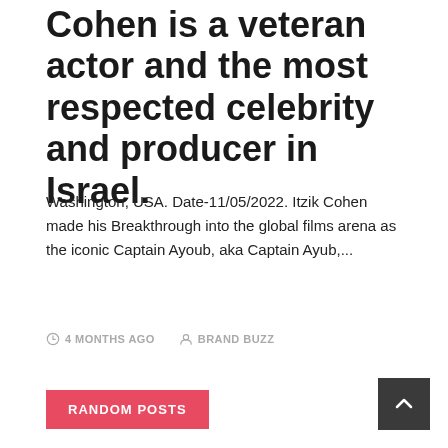Cohen is a veteran actor and the most respected celebrity and producer in Israel.
Washington, USA. Date-11/05/2022. Itzik Cohen made his Breakthrough into the global films arena as the iconic Captain Ayoub, aka Captain Ayub,...
4 MONTHS AGO   BRAND BUZZ
RANDOM POSTS